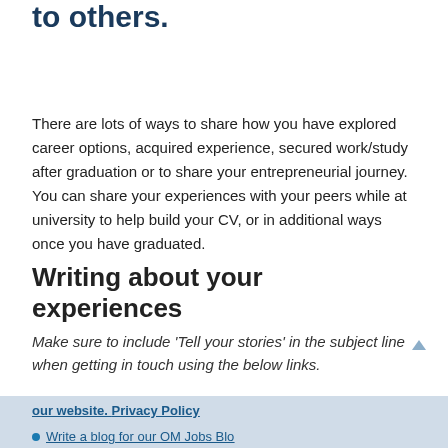to others.
There are lots of ways to share how you have explored career options, acquired experience, secured work/study after graduation or to share your entrepreneurial journey. You can share your experiences with your peers while at university to help build your CV, or in additional ways once you have graduated.
Writing about your experiences
Make sure to include 'Tell your stories' in the subject line when getting in touch using the below links.
our website. Privacy Policy
Write a blog for our OM Jobs Blog...